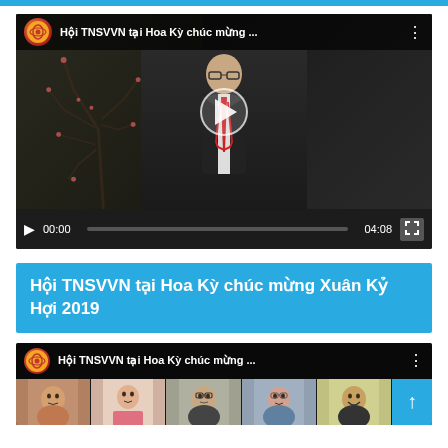[Figure (screenshot): Video player showing a man in a suit with glasses and a red lanyard, with tree branches in the background. Title: 'Hội TNSVVN tại Hoa Kỳ chúc mừng ...', duration 04:08, time 00:00]
Hội TNSVVN tại Hoa Kỳ chúc mừng Xuân Kỷ Hợi 2019
[Figure (screenshot): Second video thumbnail showing multiple people's faces in a grid. Title: 'Hội TNSVVN tại Hoa Kỳ chúc mừng ...' with scroll-up button]